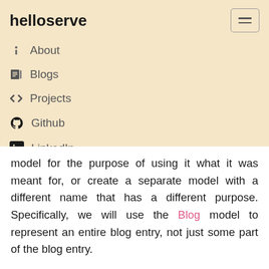helloserve
About
Blogs
Projects
Github
LinkedIn
Twitter
Facebook
model for the purpose of using it what it was meant for, or create a separate model with a different name that has a different purpose. Specifically, we will use the Blog model to represent an entire blog entry, not just some part of the blog entry.